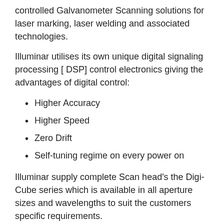controlled Galvanometer Scanning solutions for laser marking, laser welding and associated technologies.
Illuminar utilises its own unique digital signaling processing [ DSP] control electronics giving the advantages of digital control:
Higher Accuracy
Higher Speed
Zero Drift
Self-tuning regime on every power on
Illuminar supply complete Scan head’s the Digi-Cube series which is available in all aperture sizes and wavelengths to suit the customers specific requirements.
OEM kits consisting of either Scanners & mirrors or Scanners mirrors and DSP control electronics are available in tailored packages to suite specific requirements.
All Illuminar Scanners are produced to customers’ data to